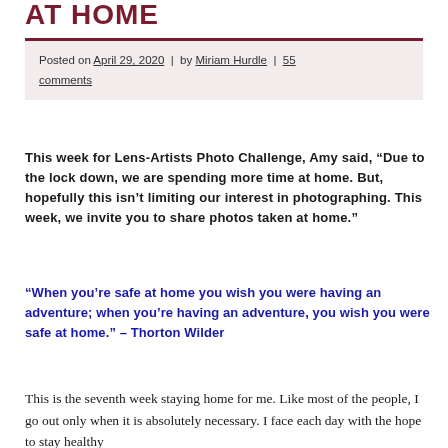AT HOME
Posted on April 29, 2020 | by Miriam Hurdle | 55 comments
This week for Lens-Artists Photo Challenge, Amy said, “Due to the lock down, we are spending more time at home. But, hopefully this isn’t limiting our interest in photographing. This week, we invite you to share photos taken at home.”
“When you’re safe at home you wish you were having an adventure; when you’re having an adventure, you wish you were safe at home.” – Thorton Wilder
This is the seventh week staying home for me. Like most of the people, I go out only when it is absolutely necessary. I face each day with the hope to stay healthy